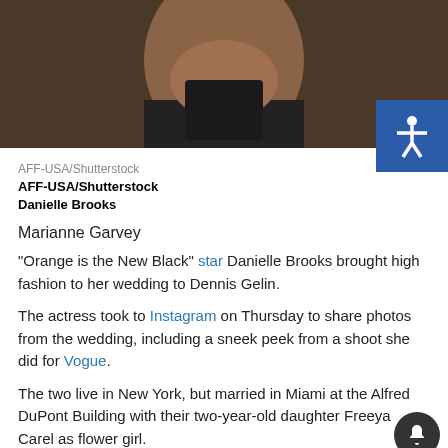[Figure (photo): Partial portrait photo of Danielle Brooks, showing upper body with dark background]
AFF-USA/Shutterstock
AFF-USA/Shutterstock
Danielle Brooks
Marianne Garvey
“Orange is the New Black” star Danielle Brooks brought high fashion to her wedding to Dennis Gelin.
The actress took to Instagram on Thursday to share photos from the wedding, including a sneek peek from a shoot she did for Vogue.
The two live in New York, but married in Miami at the Alfred DuPont Building with their two-year-old daughter Freeya Carel as flower girl.
According to Vogue Brooks had multiple looks for the big day,